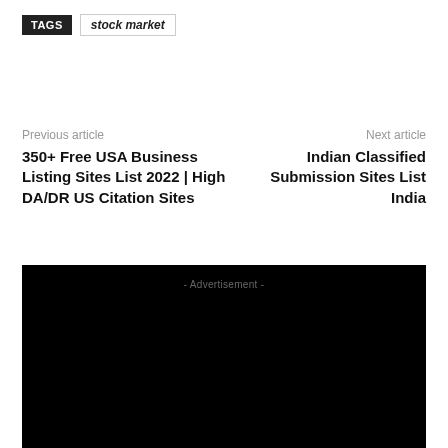TAGS  stock market
Previous article
350+ Free USA Business Listing Sites List 2022 | High DA/DR US Citation Sites
Next article
Indian Classified Submission Sites List India
[Figure (other): Black advertisement block with '- Advertisement -' label at top center]